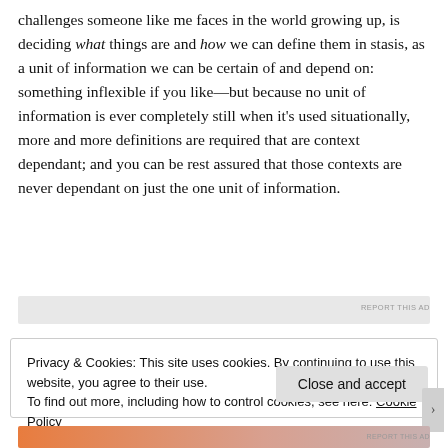challenges someone like me faces in the world growing up, is deciding what things are and how we can define them in stasis, as a unit of information we can be certain of and depend on: something inflexible if you like—but because no unit of information is ever completely still when it's used situationally, more and more definitions are required that are context dependant; and you can be rest assured that those contexts are never dependant on just the one unit of information.
[Figure (other): Advertisement placeholder bar (gray) with REPORT THIS AD label]
Privacy & Cookies: This site uses cookies. By continuing to use this website, you agree to their use.
To find out more, including how to control cookies, see here: Cookie Policy
Close and accept